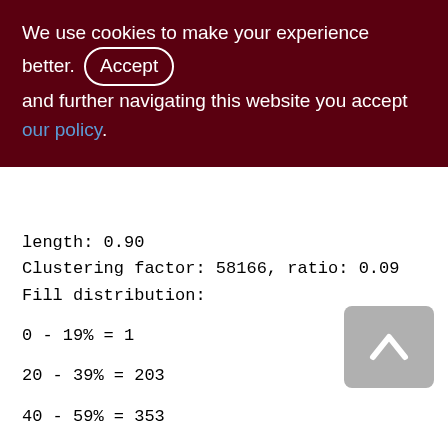We use cookies to make your experience better. By accepting and further navigating this website you accept our policy.
length: 0.90
Clustering factor: 58166, ratio: 0.09
Fill distribution:
0 - 19% = 1
20 - 39% = 203
40 - 59% = 353
60 - 79% = 199
80 - 99% = 109
ZDOC_DATA (230)
Primary pointer page: 644, Index root page: 645
Total formats: 1, used formats: 0